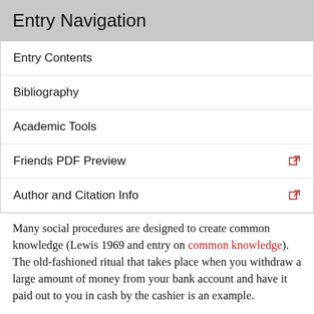Entry Navigation
Entry Contents
Bibliography
Academic Tools
Friends PDF Preview
Author and Citation Info
Many social procedures are designed to create common knowledge (Lewis 1969 and entry on common knowledge). The old-fashioned ritual that takes place when you withdraw a large amount of money from your bank account and have it paid out to you in cash by the cashier is an example.
How and whether common knowledge can be achieved depends on available communication facilities. Public announcement or publicly observable ritual (the cashier ritual mentioned above) can create common knowledge. But, as Halpern and Moses (1984) proved, message